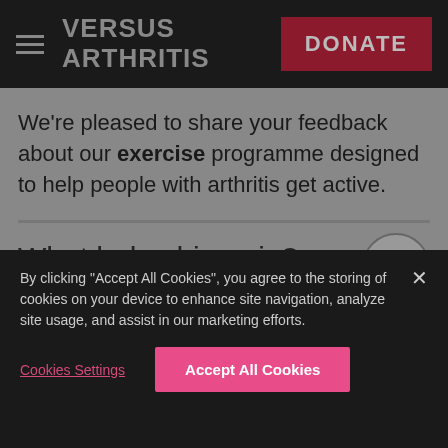VERSUS ARTHRITIS | DONATE
We're pleased to share your feedback about our exercise programme designed to help people with arthritis get active.
What helps hip pain?
By clicking "Accept All Cookies", you agree to the storing of cookies on your device to enhance site navigation, analyze site usage, and assist in our marketing efforts.
Cookies Settings | Accept All Cookies